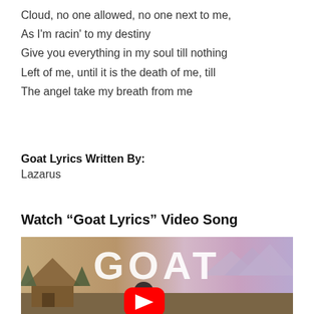Cloud, no one allowed, no one next to me,
As I'm racin' to my destiny
Give you everything in my soul till nothing
Left of me, until it is the death of me, till
The angel take my breath from me
Goat Lyrics Written By:
Lazarus
Watch “Goat Lyrics” Video Song
[Figure (screenshot): YouTube video thumbnail for Goat Lyrics video song showing the word GOAT in large white letters, a person viewed from behind wearing a floral jacket, a wooden hut on the left, mountains and purple sky in the background, with a YouTube play button overlay in the center.]